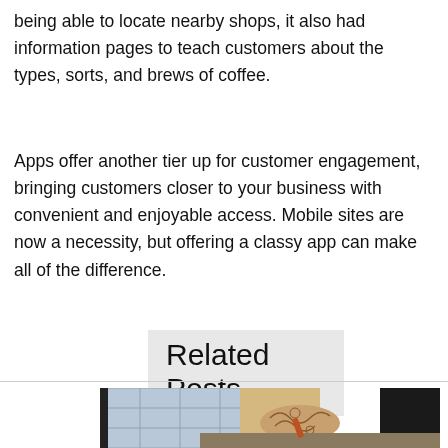being able to locate nearby shops, it also had information pages to teach customers about the types, sorts, and brews of coffee.
Apps offer another tier up for customer engagement, bringing customers closer to your business with convenient and enjoyable access. Mobile sites are now a necessity, but offering a classy app can make all of the difference.
Related Posts
[Figure (photo): A person with tattoos on their arm wearing a beige apron, working at a counter, likely a barista or craftsperson. Background shows a Japanese-style screen or window.]